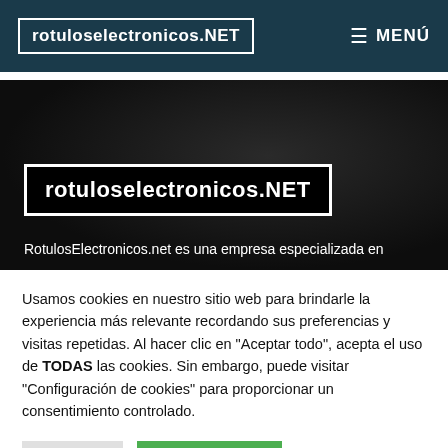rotuloselectronicos.NET   ≡ MENÚ
[Figure (screenshot): Hero banner with dark background showing the rotuloselectronicos.NET logo in a white-bordered box and partial text 'RotulosElectronicos.net es una empresa especializada en']
Usamos cookies en nuestro sitio web para brindarle la experiencia más relevante recordando sus preferencias y visitas repetidas. Al hacer clic en "Aceptar todo", acepta el uso de TODAS las cookies. Sin embargo, puede visitar "Configuración de cookies" para proporcionar un consentimiento controlado.
Ajustes   Aceptar todo